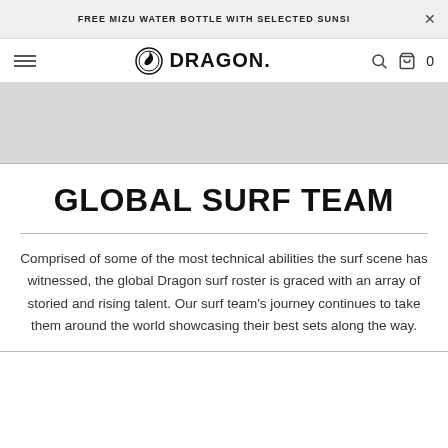FREE MIZU WATER BOTTLE WITH SELECTED SUNSI
[Figure (logo): Dragon Alliance logo — circular dragon icon with DRAGON wordmark]
[Figure (photo): Gray placeholder image area beneath navigation]
GLOBAL SURF TEAM
Comprised of some of the most technical abilities the surf scene has witnessed, the global Dragon surf roster is graced with an array of storied and rising talent. Our surf team's journey continues to take them around the world showcasing their best sets along the way.